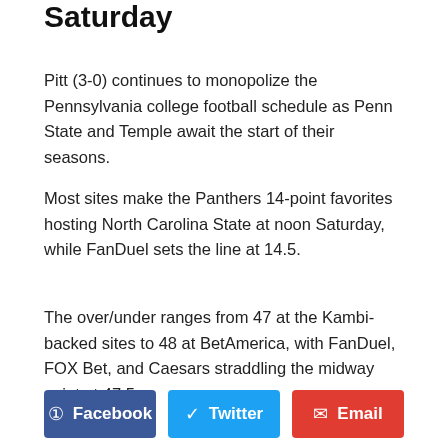Saturday
Pitt (3-0) continues to monopolize the Pennsylvania college football schedule as Penn State and Temple await the start of their seasons.
Most sites make the Panthers 14-point favorites hosting North Carolina State at noon Saturday, while FanDuel sets the line at 14.5.
The over/under ranges from 47 at the Kambi-backed sites to 48 at BetAmerica, with FanDuel, FOX Bet, and Caesars straddling the midway point at 47.5.